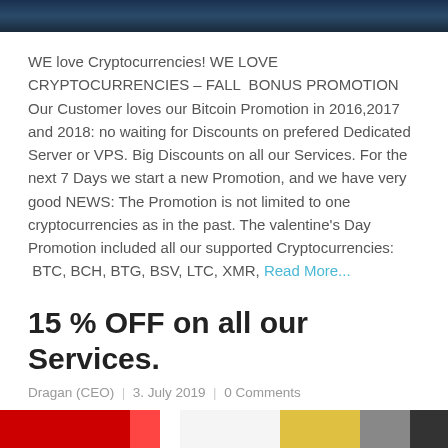[Figure (photo): Dark blue/teal image banner at the top of the page]
WE love Cryptocurrencies! WE LOVE CRYPTOCURRENCIES – FALL  BONUS PROMOTION Our Customer loves our Bitcoin Promotion in 2016,2017 and 2018: no waiting for Discounts on prefered Dedicated Server or VPS. Big Discounts on all our Services. For the next 7 Days we start a new Promotion, and we have very good NEWS: The Promotion is not limited to one cryptocurrencies as in the past. The valentine's Day Promotion included all our supported Cryptocurrencies:  BTC, BCH, BTG, BSV, LTC, XMR, Read More...
15 % OFF on all our Services.
Dragan (CEO)  |  3. July 2019  |  0 Comments
[Figure (photo): Partial image strip at the bottom showing colorful logos/icons]